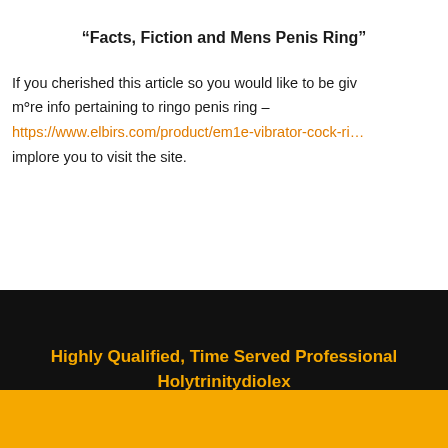“Facts, Fiction and Mens Penis Ring”
If you cherished this article so you would like to be given more info pertaining to ringo penis ring – https://www.elbirs.com/product/em1e-vibrator-cock-ri… implore you to visit the site.
Highly Qualified, Time Served Professional Holytrinitydiolex